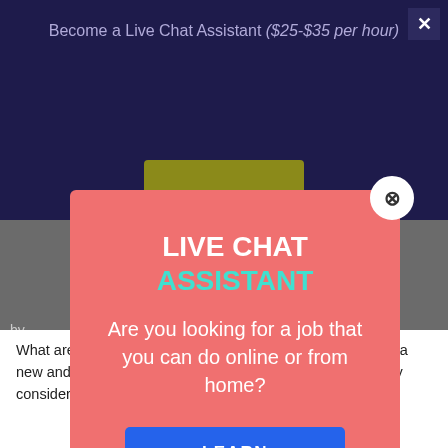Become a Live Chat Assistant ($25-$35 per hour)
LIVE CHAT ASSISTANT
Are you looking for a job that you can do online or from home?
LEARN MORE
What are you waiting for? If you are presently searching for a new and amazing way to earn money, you should absolutely consider working online.